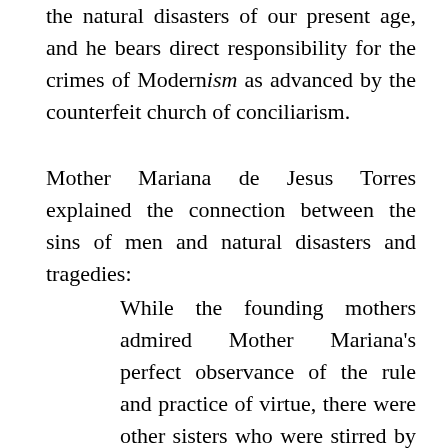the natural disasters of our present age, and he bears direct responsibility for the crimes of Modernism as advanced by the counterfeit church of conciliarism.
Mother Mariana de Jesus Torres explained the connection between the sins of men and natural disasters and tragedies:
While the founding mothers admired Mother Mariana's perfect observance of the rule and practice of virtue, there were other sisters who were stirred by jealousy. Mother Marina suffered insults and persecutions form those sisters without ever trying to justify herself or protest. Only at the foot of the Tabernacle did she confide her secret